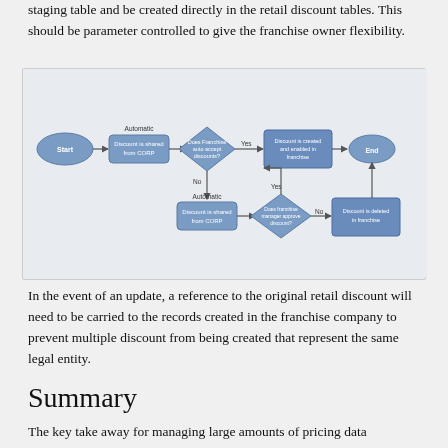staging table and be created directly in the retail discount tables. This should be parameter controlled to give the franchise owner flexibility.
[Figure (flowchart): Flowchart showing discount sharing process from CORP to franchise. Start -> Discount is shared from CORP -> Does Franchise auto accept discounts? If Yes -> Discount is created and enabled in franchise -> End. If No -> Automatic: Discount is shared from CORP -> Does franchise manager approve discount? If Yes -> Discount is created and enabled in franchise -> End. If No -> Discount is deleted in franchise.]
In the event of an update, a reference to the original retail discount will need to be carried to the records created in the franchise company to prevent multiple discount from being created that represent the same legal entity.
Summary
The key take away for managing large amounts of pricing data